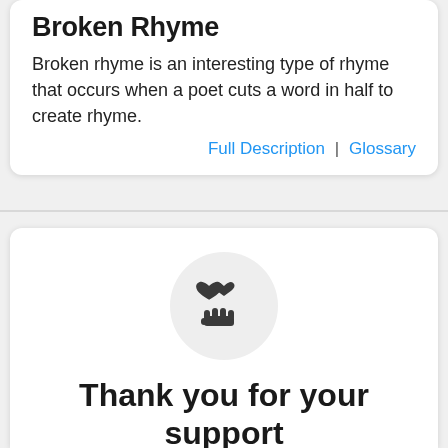Broken Rhyme
Broken rhyme is an interesting type of rhyme that occurs when a poet cuts a word in half to create rhyme.
Full Description | Glossary
[Figure (illustration): Icon of a hand with a heart above it, inside a light gray circle — representing donation or support]
Thank you for your support
It is through you visiting Poem